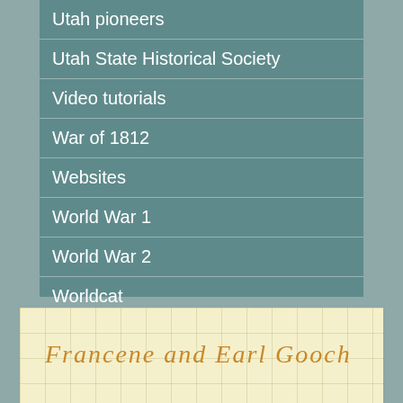Utah pioneers
Utah State Historical Society
Video tutorials
War of 1812
Websites
World War 1
World War 2
Worldcat
Francene and Earl Gooch